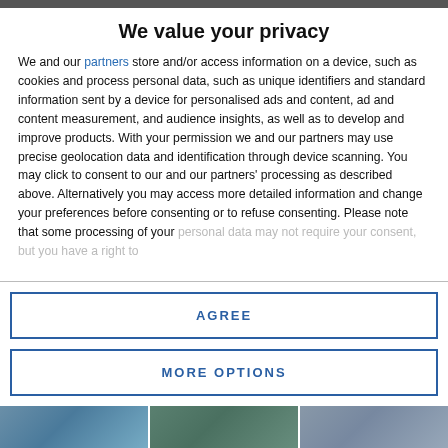We value your privacy
We and our partners store and/or access information on a device, such as cookies and process personal data, such as unique identifiers and standard information sent by a device for personalised ads and content, ad and content measurement, and audience insights, as well as to develop and improve products. With your permission we and our partners may use precise geolocation data and identification through device scanning. You may click to consent to our and our partners' processing as described above. Alternatively you may access more detailed information and change your preferences before consenting or to refuse consenting. Please note that some processing of your personal data may not require your consent, but you have a right to
AGREE
MORE OPTIONS
[Figure (photo): Three thumbnail images at the bottom of the page]